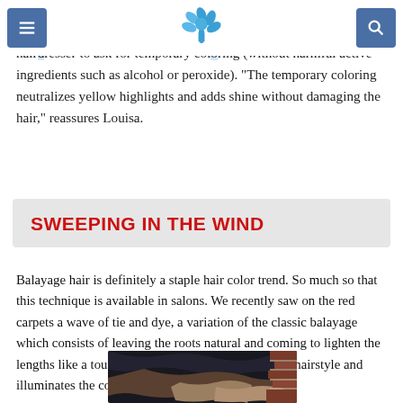Navigation header with menu button, logo, and search button
nice uniform color to the hair. And if you really want to space out the sweeps to avoid damaging your hair as much, you go to your hairdresser to ask for temporary coloring (without harmful active ingredients such as alcohol or peroxide). "The temporary coloring neutralizes yellow highlights and adds shine without damaging the hair," reassures Louisa.
SWEEPING IN THE WIND
Balayage hair is definitely a staple hair color trend. So much so that this technique is available in salons. We recently saw on the red carpets a wave of tie and dye, a variation of the classic balayage which consists of leaving the roots natural and coming to lighten the lengths like a touch of the sun. This effect rocks the hairstyle and illuminates the complexion.
[Figure (photo): Photo of a person with dark hair featuring balayage highlights, showing dark roots transitioning to lighter ends, with a brick wall in the background]